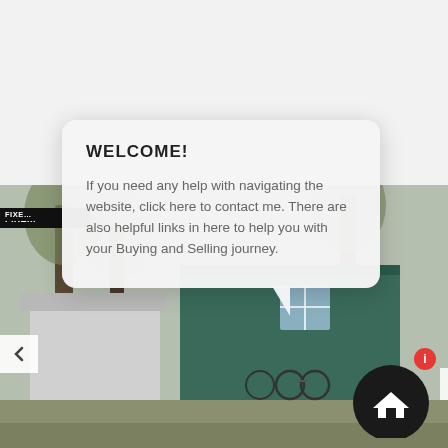[Figure (logo): Premiere Property Group LLC logo in cursive/serif font with key icon]
[Figure (infographic): Navigation icons: login arrow and envelope (mail) icon in top right header]
[Figure (infographic): Hamburger menu icon (three horizontal lines) in top right]
WELCOME!
If you need any help with navigating the website, click here to contact me. There are also helpful links in here to help you with your Buying and Selling journey.
[Figure (photo): Exterior photo of a house with trees, bicycles, green siding, taken in fall/winter with bare trees]
FIXE...
[Figure (infographic): Left navigation arrow chevron button]
[Figure (infographic): Right navigation arrow with dark circular home button and red info badge]